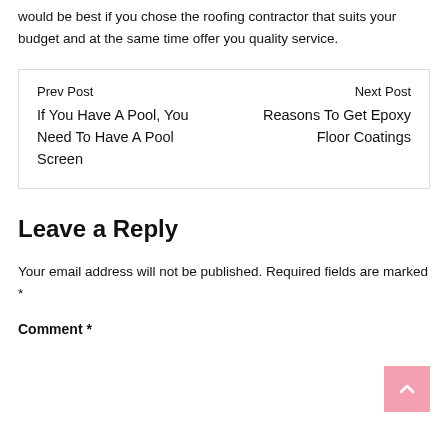would be best if you chose the roofing contractor that suits your budget and at the same time offer you quality service.
Prev Post
If You Have A Pool, You Need To Have A Pool Screen
Next Post
Reasons To Get Epoxy Floor Coatings
Leave a Reply
Your email address will not be published. Required fields are marked *
Comment *